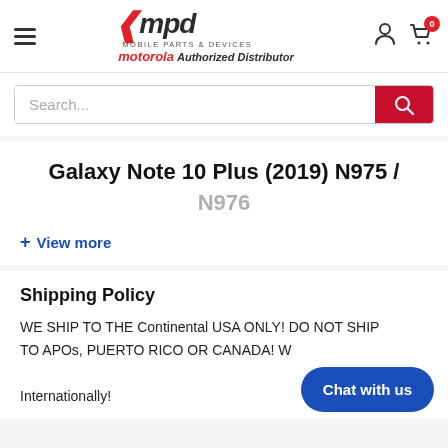[Figure (logo): MPD Mobile Parts & Devices logo with red chevron and motorola Authorized Distributor text]
Search...
Galaxy Note 10 Plus (2019) N975 / N976
+ View more
Shipping Policy
WE SHIP TO THE Continental USA ONLY! DO NOT SHIP TO APOs, PUERTO RICO OR CANADA! We Do Not Ship Internationally!